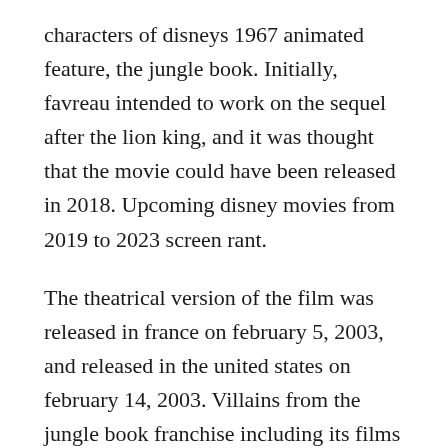characters of disneys 1967 animated feature, the jungle book. Initially, favreau intended to work on the sequel after the lion king, and it was thought that the movie could have been released in 2018. Upcoming disney movies from 2019 to 2023 screen rant.
The theatrical version of the film was released in france on february 5, 2003, and released in the united states on february 14, 2003. Villains from the jungle book franchise including its films and television series. Lyrics to colonel hathis march the elephant song